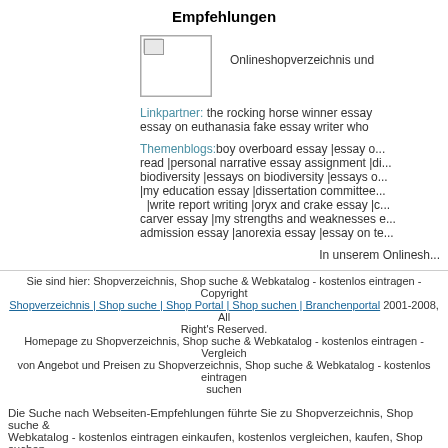Empfehlungen
[Figure (other): Broken image placeholder thumbnail]
Onlineshopverzeichnis und...
Linkpartner: the rocking horse winner essay essay on euthanasia fake essay writer who...
Themenblogs:boy overboard essay |essay o... read |personal narrative essay assignment |di... biodiversity |essays on biodiversity |essays o... |my education essay |dissertation committee... |write report writing |oryx and crake essay |c... carver essay |my strengths and weaknesses e... admission essay |anorexia essay |essay on te...
In unserem Onlinesh...
Sie sind hier: Shopverzeichnis, Shop suche & Webkatalog - kostenlos eintragen - Copyright Shopverzeichnis | Shop suche | Shop Portal | Shop suchen | Branchenportal 2001-2008, All Right's Reserved.
Homepage zu Shopverzeichnis, Shop suche & Webkatalog - kostenlos eintragen - Vergleich von Angebot und Preisen zu Shopverzeichnis, Shop suche & Webkatalog - kostenlos eintragen suchen
Die Suche nach Webseiten-Empfehlungen führte Sie zu Shopverzeichnis, Shop suche & Webkatalog - kostenlos eintragen einkaufen, kostenlos vergleichen, kaufen, Shop suchen. Falls eine Kategorie fehlen sollte, wenden Sie sich einfach per email an uns. Werbung zum...